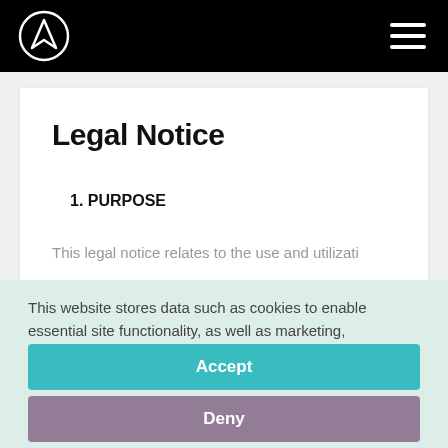Navigation header with logo and menu
Legal Notice
1. PURPOSE
This legal notice relates to the use and utilization...
This website stores data such as cookies to enable essential site functionality, as well as marketing, personalization, and analytics. Data Storage Policy
Accept
Deny